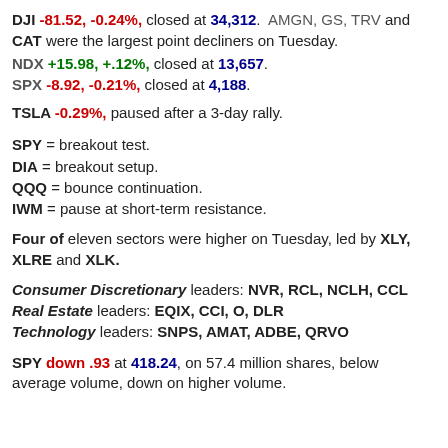DJI -81.52, -0.24%, closed at 34,312. AMGN, GS, TRV and CAT were the largest point decliners on Tuesday.
NDX +15.98, +.12%, closed at 13,657.
SPX -8.92, -0.21%, closed at 4,188.
TSLA -0.29%, paused after a 3-day rally.
SPY = breakout test.
DIA = breakout setup.
QQQ = bounce continuation.
IWM = pause at short-term resistance.
Four of eleven sectors were higher on Tuesday, led by XLY, XLRE and XLK.
Consumer Discretionary leaders: NVR, RCL, NCLH, CCL
Real Estate leaders: EQIX, CCI, O, DLR
Technology leaders: SNPS, AMAT, ADBE, QRVO
SPY down .93 at 418.24, on 57.4 million shares, below average volume, down on higher volume.